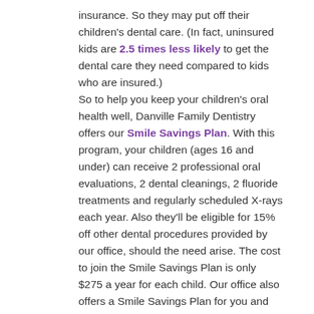insurance. So they may put off their children's dental care. (In fact, uninsured kids are 2.5 times less likely to get the dental care they need compared to kids who are insured.) So to help you keep your children's oral health well, Danville Family Dentistry offers our Smile Savings Plan. With this program, your children (ages 16 and under) can receive 2 professional oral evaluations, 2 dental cleanings, 2 fluoride treatments and regularly scheduled X-rays each year. Also they'll be eligible for 15% off other dental procedures provided by our office, should the need arise. The cost to join the Smile Savings Plan is only $275 a year for each child. Our office also offers a Smile Savings Plan for you and your older children, as well, at the same cost ($275 a year) with the same great benefits (minus the fluoride treatments). So everyone in your family can have healthy smiles! Help maintain your children's oral health by calling